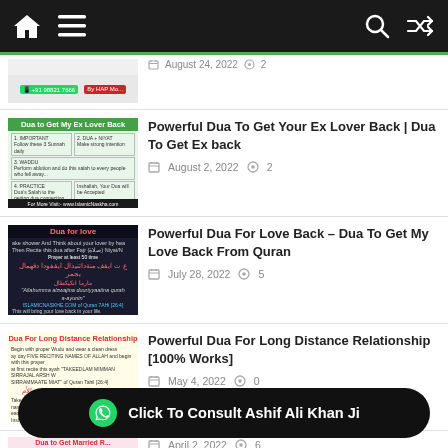Navigation bar with home, menu, search, and shuffle icons
[Figure (screenshot): Partially visible article thumbnail at top]
August 24, 2022  2
[Figure (screenshot): Thumbnail image for Dua to Get My Ex Lover Back article]
Powerful Dua To Get Your Ex Lover Back | Dua To Get Ex back
August 2, 2022  2
[Figure (screenshot): Thumbnail image for Dua for Love article]
Powerful Dua For Love Back – Dua To Get My Love Back From Quran
July 28, 2022  5
[Figure (screenshot): Thumbnail image for Dua For Long Distance Relationship article]
Powerful Dua For Long Distance Relationship [100% Works]
May 4, 2022  0
[Figure (screenshot): Thumbnail image for Dua to Get Married article (partially visible)]
April 2, 2022  6
Click To Consult Ashif Ali Khan Ji